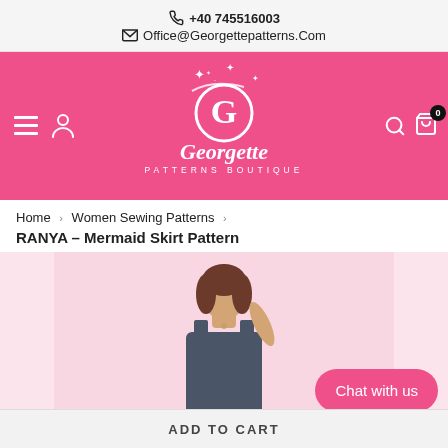+40 745516003
Office@Georgettepatterns.Com
[Figure (logo): Georgette Patterns Boutique logo on pink background with stylized G and sparkles, navigation icons (hamburger, user, search, cart)]
Home › Women Sewing Patterns › RANYA – Mermaid Skirt Pattern
[Figure (photo): Woman wearing a navy/denim sleeveless dress, with a Chat with us button overlay]
ADD TO CART